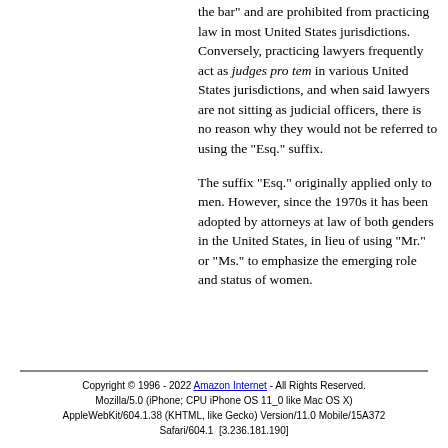the bar" and are prohibited from practicing law in most United States jurisdictions. Conversely, practicing lawyers frequently act as judges pro tem in various United States jurisdictions, and when said lawyers are not sitting as judicial officers, there is no reason why they would not be referred to using the "Esq." suffix.
The suffix "Esq." originally applied only to men. However, since the 1970s it has been adopted by attorneys at law of both genders in the United States, in lieu of using "Mr." or "Ms." to emphasize the emerging role and status of women.
Copyright © 1996 - 2022 Amazon Internet - All Rights Reserved. Mozilla/5.0 (iPhone; CPU iPhone OS 11_0 like Mac OS X) AppleWebKit/604.1.38 (KHTML, like Gecko) Version/11.0 Mobile/15A372 Safari/604.1  [3.236.181.190]